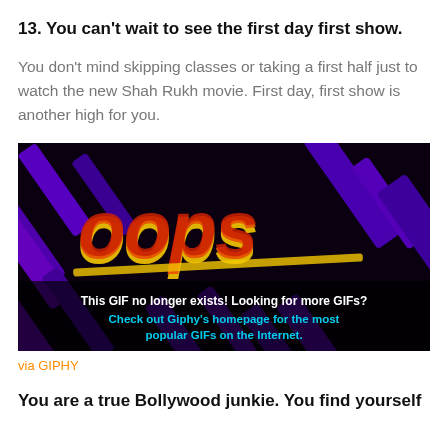13. You can't wait to see the first day first show.
You don't mind skipping classes or taking a first half just to watch the new Shah Rukh movie. First day, first show is another high for you.
[Figure (screenshot): OOPS GIF error screen from Giphy with stylized orange/red/yellow graffiti text 'oops' on dark purple/black background with text: 'This GIF no longer exists! Looking for more GIFs? Check out Giphy's homepage for the most popular GIFs on the Internet.']
via GIPHY
You are a true Bollywood junkie. You find yourself